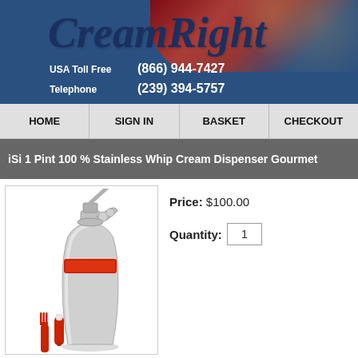[Figure (logo): CreamRight logo with cursive navy text on blue background with fruit imagery. Contact info: USA Toll Free (866) 944-7427, Telephone (239) 394-5757]
HOME | SIGN IN | BASKET | CHECKOUT
iSi 1 Pint 100 % Stainless Whip Cream Dispenser Gourmet
[Figure (photo): iSi stainless steel whip cream dispenser with red band, red accessories (fork tool and charger holder) shown beside it]
Price: $100.00
Quantity: 1